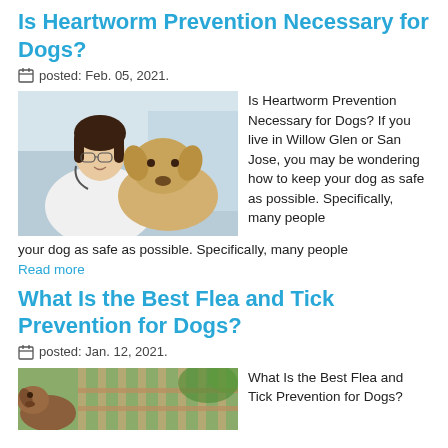Is Heartworm Prevention Necessary for Dogs?
posted: Feb. 05, 2021.
[Figure (photo): Veterinarian in white coat holding a golden labrador puppy]
Is Heartworm Prevention Necessary for Dogs? If you live in Willow Glen or San Jose, you may be wondering how to keep your dog as safe as possible. Specifically, many people
Read more
What Is the Best Flea and Tick Prevention for Dogs?
posted: Jan. 12, 2021.
[Figure (photo): Dog outdoors near a fence with foliage in background]
What Is the Best Flea and Tick Prevention for Dogs?